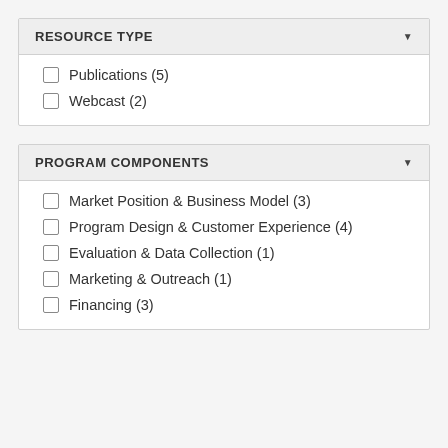RESOURCE TYPE
Publications (5)
Webcast (2)
PROGRAM COMPONENTS
Market Position & Business Model (3)
Program Design & Customer Experience (4)
Evaluation & Data Collection (1)
Marketing & Outreach (1)
Financing (3)